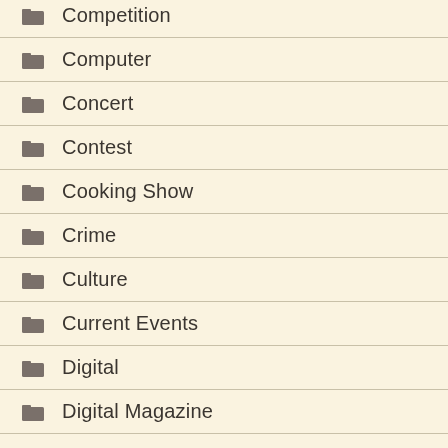Competition
Computer
Concert
Contest
Cooking Show
Crime
Culture
Current Events
Digital
Digital Magazine